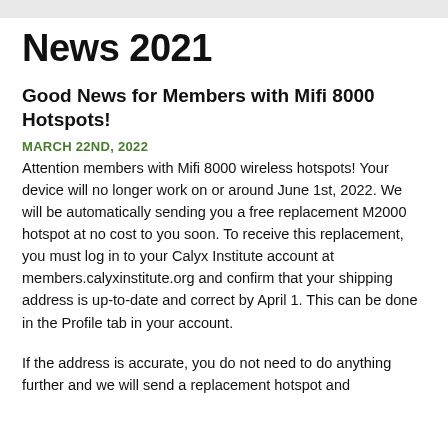News 2021
Good News for Members with Mifi 8000 Hotspots!
MARCH 22ND, 2022
Attention members with Mifi 8000 wireless hotspots! Your device will no longer work on or around June 1st, 2022. We will be automatically sending you a free replacement M2000 hotspot at no cost to you soon. To receive this replacement, you must log in to your Calyx Institute account at members.calyxinstitute.org and confirm that your shipping address is up-to-date and correct by April 1. This can be done in the Profile tab in your account.
If the address is accurate, you do not need to do anything further and we will send a replacement hotspot and